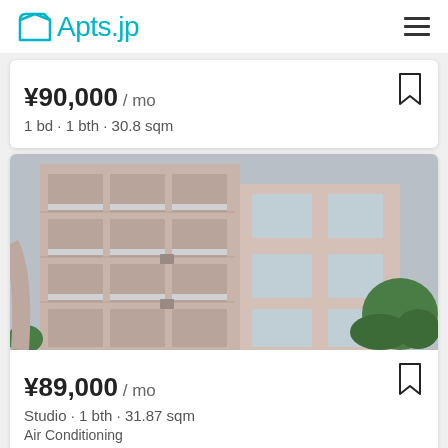Apts.jp
¥90,000 / mo
1 bd · 1 bth · 30.8 sqm
[Figure (photo): Exterior photo of a multi-story pink/beige apartment building with balconies and glass railings, green trees visible at right]
¥89,000 / mo
Studio · 1 bth · 31.87 sqm
Air Conditioning